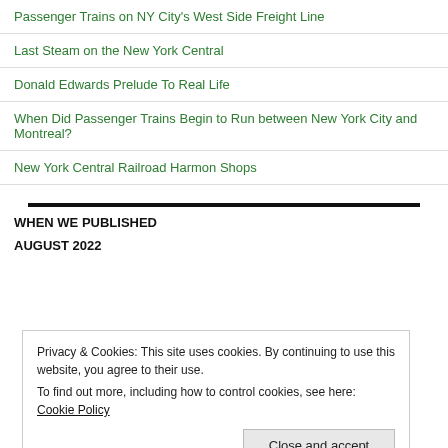Passenger Trains on NY City's West Side Freight Line
Last Steam on the New York Central
Donald Edwards Prelude To Real Life
When Did Passenger Trains Begin to Run between New York City and Montreal?
New York Central Railroad Harmon Shops
WHEN WE PUBLISHED
AUGUST 2022
Privacy & Cookies: This site uses cookies. By continuing to use this website, you agree to their use.
To find out more, including how to control cookies, see here: Cookie Policy
Close and accept